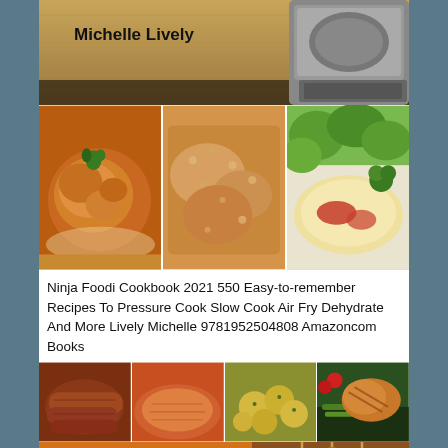[Figure (photo): Top portion of a book cover showing author name 'Michelle Lively' on a wooden background with a Ninja Foodi appliance on the right side]
[Figure (photo): Three food photos in a horizontal strip: roasted chicken with herbs, breaded/fried chicken pieces, and a cheesy dish with vegetables]
Ninja Foodi Cookbook 2021 550 Easy-to-remember Recipes To Pressure Cook Slow Cook Air Fry Dehydrate And More Lively Michelle 9781952504808 Amazoncom Books
[Figure (photo): Bottom book cover: four food photos in top row (sausages, salmon, potatoes, grilled chicken with vegetables) and below: orange block with 'NINJA Foodi SMART XL GRILL COOKBOOK FOR BEGINNERS' text, and kebab photo on right]